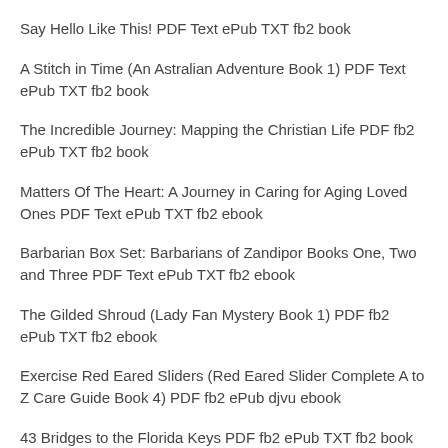Say Hello Like This! PDF Text ePub TXT fb2 book
A Stitch in Time (An Astralian Adventure Book 1) PDF Text ePub TXT fb2 book
The Incredible Journey: Mapping the Christian Life PDF fb2 ePub TXT fb2 book
Matters Of The Heart: A Journey in Caring for Aging Loved Ones PDF Text ePub TXT fb2 ebook
Barbarian Box Set: Barbarians of Zandipor Books One, Two and Three PDF Text ePub TXT fb2 ebook
The Gilded Shroud (Lady Fan Mystery Book 1) PDF fb2 ePub TXT fb2 ebook
Exercise Red Eared Sliders (Red Eared Slider Complete A to Z Care Guide Book 4) PDF fb2 ePub djvu ebook
43 Bridges to the Florida Keys PDF fb2 ePub TXT fb2 book
A Taste of Evil (Will mortal love be stronger than immortal blood?) PDF fb2 ePub djvu ebook